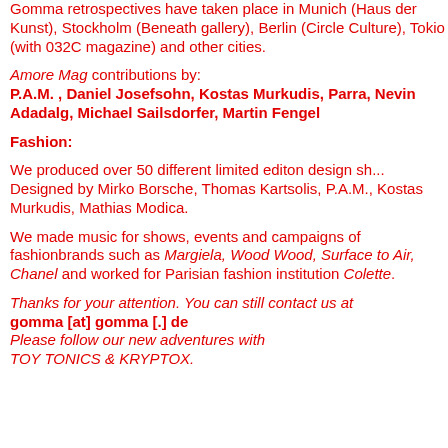Gomma retrospectives have taken place in Munich (Haus der Kunst), Stockholm (Beneath gallery), Berlin (Circle Culture), Tokio (with 032C magazine) and other cities.
Amore Mag contributions by: P.A.M. , Daniel Josefsohn, Kostas Murkudis, Parra, Nevin Adadalg, Michael Sailsdorfer, Martin Fengel
Fashion:
We produced over 50 different limited editon design shirts. Designed by Mirko Borsche, Thomas Kartsolis, P.A.M., Kostas Murkudis, Mathias Modica.
We made music for shows, events and campaigns of fashionbrands such as Margiela, Wood Wood, Surface to Air, Chanel and worked for Parisian fashion institution Colette.
Thanks for your attention. You can still contact us at gomma [at] gomma [.] de Please follow our new adventures with TOY TONICS & KRYPTOX.